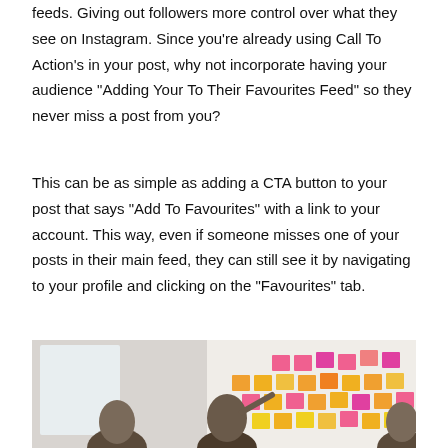feeds. Giving out followers more control over what they see on Instagram. Since you're already using Call To Action's in your post, why not incorporate having your audience "Adding Your To Their Favourites Feed" so they never miss a post from you?
This can be as simple as adding a CTA button to your post that says "Add To Favourites" with a link to your account. This way, even if someone misses one of your posts in their main feed, they can still see it by navigating to your profile and clicking on the "Favourites" tab.
[Figure (photo): Two people at a wall covered in colorful sticky/post-it notes in pink, orange, and yellow colors, appearing to be in a brainstorming or planning session.]